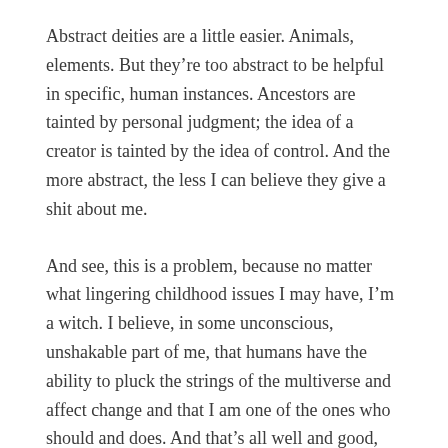Abstract deities are a little easier. Animals, elements. But they're too abstract to be helpful in specific, human instances. Ancestors are tainted by personal judgment; the idea of a creator is tainted by the idea of control. And the more abstract, the less I can believe they give a shit about me.
And see, this is a problem, because no matter what lingering childhood issues I may have, I'm a witch. I believe, in some unconscious, unshakable part of me, that humans have the ability to pluck the strings of the multiverse and affect change and that I am one of the ones who should and does. And that's all well and good, but uh...it's lonely. I'd like a guiding force to look up to. One who won't let me down. One who won't judge me. One with no ulterior motives, about either my actions or my soul. They don't have to fix things for me, just have to